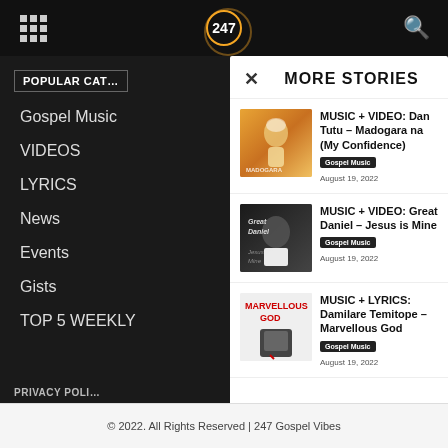247 Gospel Vibes
POPULAR CATEGORIES
Gospel Music
VIDEOS
LYRICS
News
Events
Gists
TOP 5 WEEKLY
MORE STORIES
[Figure (photo): Dan Tutu album art - man in yellow outfit with white headwear]
MUSIC + VIDEO: Dan Tutu – Madogara na (My Confidence)
Gospel Music  August 19, 2022
[Figure (photo): Great Daniel - Jesus is Mine album art with artist singing]
MUSIC + VIDEO: Great Daniel – Jesus is Mine
Gospel Music  August 19, 2022
[Figure (photo): Marvellous God album art - red text on white with man in suit]
MUSIC + LYRICS: Damilare Temitope – Marvellous God
Gospel Music  August 19, 2022
PRIVACY POLI…
© 2022. All Rights Reserved | 247 Gospel Vibes